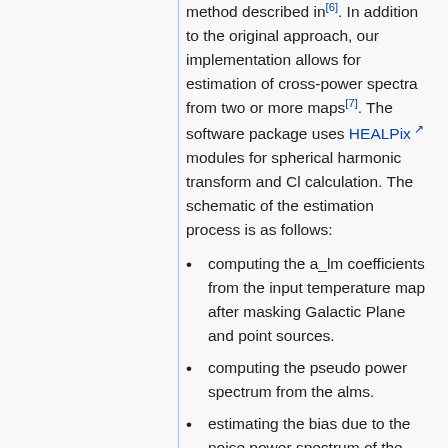method described in[6]. In addition to the original approach, our implementation allows for estimation of cross-power spectra from two or more maps[7]. The software package uses HEALPix modules for spherical harmonic transform and Cl calculation. The schematic of the estimation process is as follows:
computing the a_lm coefficients from the input temperature map after masking Galactic Plane and point sources.
computing the pseudo power spectrum from the alms.
estimating the bias due to the noise power spectrum of the map from noise-only Monte Carlo simulations based on detector noise properties
correcting for the effect of the